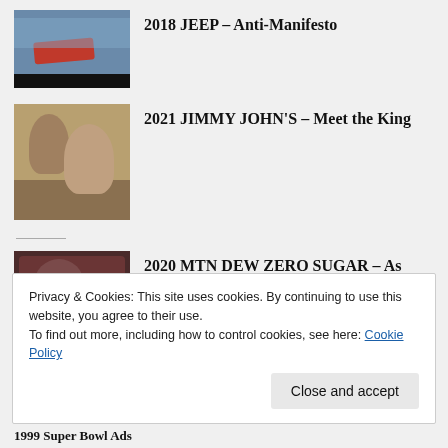[Figure (photo): Thumbnail of a red Jeep driving through water/mud outdoors]
2018 JEEP – Anti-Manifesto
[Figure (photo): Thumbnail of people relaxing outdoors, Jimmy John's ad]
2021 JIMMY JOHN'S – Meet the King
[Figure (photo): Thumbnail of a man holding a Mountain Dew bottle, dark background]
2020 MTN DEW ZERO SUGAR – As Good As The Original
Privacy & Cookies: This site uses cookies. By continuing to use this website, you agree to their use.
To find out more, including how to control cookies, see here: Cookie Policy
Close and accept
1999 Super Bowl Ads